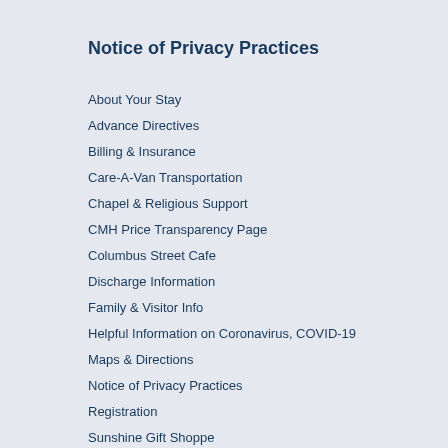Notice of Privacy Practices
About Your Stay
Advance Directives
Billing & Insurance
Care-A-Van Transportation
Chapel & Religious Support
CMH Price Transparency Page
Columbus Street Cafe
Discharge Information
Family & Visitor Info
Helpful Information on Coronavirus, COVID-19
Maps & Directions
Notice of Privacy Practices
Registration
Sunshine Gift Shoppe